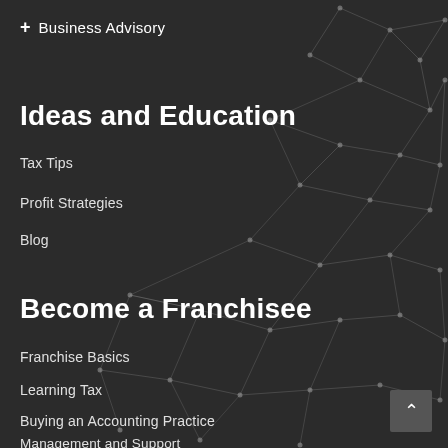+ Business Advisory
Ideas and Education
Tax Tips
Profit Strategies
Blog
Become a Franchisee
Franchise Basics
Learning Tax
Buying an Accounting Practice
Management and Support
[Figure (network-graph): Abstract geometric network graph with nodes and connecting lines on dark background, spanning the right side and center of the page.]